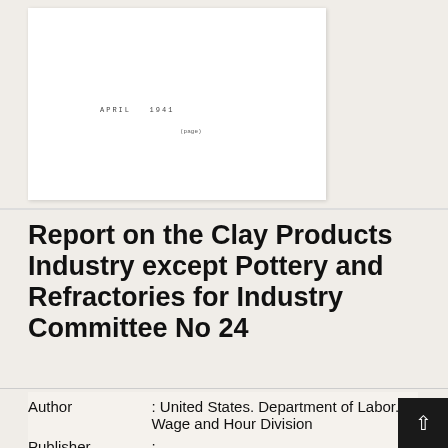[Figure (other): Scanned document page thumbnail showing 'APRIL 1941' text and a page number '(page)' at bottom, white document on light background]
Report on the Clay Products Industry except Pottery and Refractories for Industry Committee No 24
| Author | : United States. Department of Labor. Wage and Hour Division |
| Publisher | : |